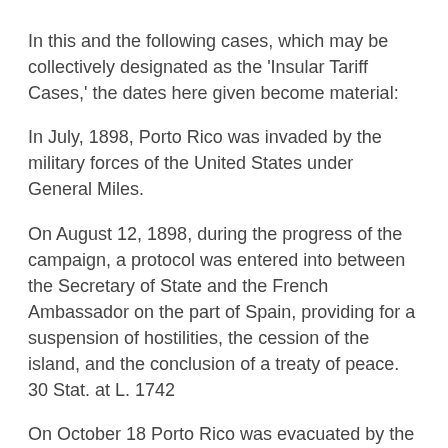In this and the following cases, which may be collectively designated as the 'Insular Tariff Cases,' the dates here given become material:
In July, 1898, Porto Rico was invaded by the military forces of the United States under General Miles.
On August 12, 1898, during the progress of the campaign, a protocol was entered into between the Secretary of State and the French Ambassador on the part of Spain, providing for a suspension of hostilities, the cession of the island, and the conclusion of a treaty of peace. 30 Stat. at L. 1742
On October 18 Porto Rico was evacuated by the Spanish forces.
On December 10, 1898, such treaty was signed at Paris (under which Spain ceded to the United States the island of Porto Rico), was ratified by the President and Senate...